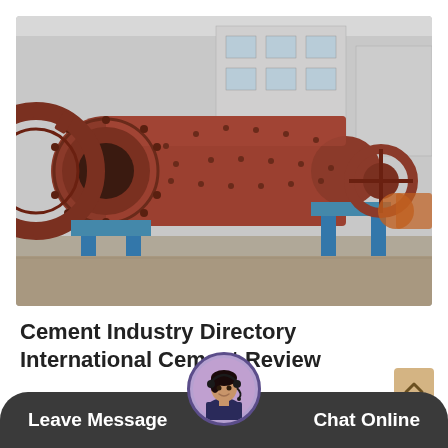[Figure (photo): Industrial ball mill / cement grinding mill equipment photographed outdoors in a factory yard. Large red/rust-colored cylindrical drum with bolted flanges, gear wheel, and support stands on blue metal frames. A second smaller orange mill visible in the background. Industrial buildings visible behind.]
Cement Industry Directory International Cement Review
Welcome to cemnet b cement industry loca mpany
[Figure (screenshot): Dark chat bar overlay at the bottom of the page with 'Leave Message' on the left and 'Chat Online' on the right, with a customer service avatar (woman with headset) in the center circle.]